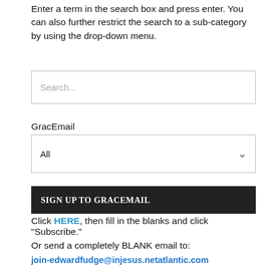Enter a term in the search box and press enter. You can also further restrict the search to a sub-category by using the drop-down menu.
[Figure (screenshot): Search input box with placeholder text 'Search...']
GracEmail
[Figure (screenshot): Dropdown select box showing 'All' with a dropdown arrow]
SIGN UP TO GRACEMAIL
Click HERE, then fill in the blanks and click "Subscribe."
Or send a completely BLANK email to:
join-edwardfudge@injesus.netatlantic.com